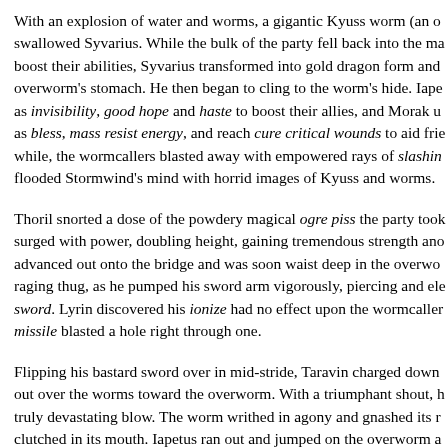With an explosion of water and worms, a gigantic Kyuss worm (an o swallowed Syvarius. While the bulk of the party fell back into the ma boost their abilities, Syvarius transformed into gold dragon form and overworm's stomach. He then began to cling to the worm's hide. Iape as invisibility, good hope and haste to boost their allies, and Morak u as bless, mass resist energy, and reach cure critical wounds to aid frie while, the wormcallers blasted away with empowered rays of slashin flooded Stormwind's mind with horrid images of Kyuss and worms.
Thoril snorted a dose of the powdery magical ogre piss the party took surged with power, doubling height, gaining tremendous strength ano advanced out onto the bridge and was soon waist deep in the overwo raging thug, as he pumped his sword arm vigorously, piercing and ele sword. Lyrin discovered his ionize had no effect upon the wormcaller missile blasted a hole right through one.
Flipping his bastard sword over in mid-stride, Taravin charged down out over the worms toward the overworm. With a triumphant shout, h truly devastating blow. The worm writhed in agony and gnashed its r clutched in its mouth. Iapetus ran out and jumped on the overworm a